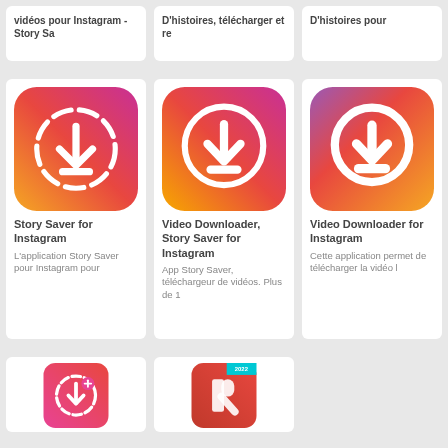[Figure (screenshot): App grid showing Instagram story saver and video downloader apps on a mobile app store page]
vidéos pour Instagram - Story Sa
D'histoires, télécharger et re
D'histoires pour
[Figure (illustration): Story Saver for Instagram app icon - gradient orange to pink with download circle arrow]
Story Saver for Instagram
L'application Story Saver pour Instagram pour
[Figure (illustration): Video Downloader Story Saver for Instagram app icon - gradient orange to pink with download arrow]
Video Downloader, Story Saver for Instagram
App Story Saver, téléchargeur de vidéos. Plus de 1
[Figure (illustration): Video Downloader for Instagram app icon - gradient purple to pink with download arrow]
Video Downloader for Instagram
Cette application permet de télécharger la vidéo l
[Figure (illustration): Partial app icon - red/pink gradient with circular upload arrow]
[Figure (illustration): Partial app icon - red gradient with 2022 badge]